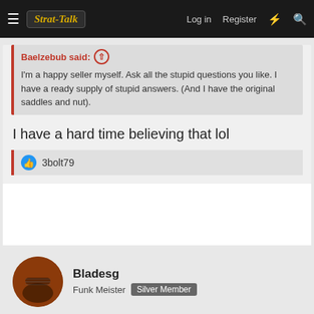Strat-Talk — Log in  Register
Baelzebub said: ↑
I'm a happy seller myself. Ask all the stupid questions you like. I have a ready supply of stupid answers. (And I have the original saddles and nut).
I have a hard time believing that lol
👍 3bolt79
Bladesg
Funk Meister  Silver Member
Mar 25, 2022